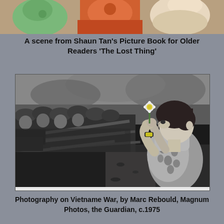[Figure (photo): Top portion of Shaun Tan's illustrated picture book 'The Lost Thing', showing colorful illustrated scene with characters]
A scene from Shaun Tan's Picture Book for Older Readers 'The Lost Thing'
[Figure (photo): Black and white photograph of a young woman holding a flower in front of a line of armed soldiers, Vietnam War era protest photo by Marc Rebould, Magnum Photos, c.1975]
Photography on Vietname War, by Marc Rebould, Magnum Photos, the Guardian, c.1975